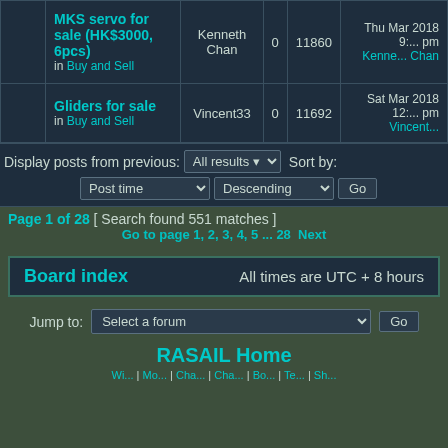|  | Topic | Author | Replies | Views | Last post |
| --- | --- | --- | --- | --- | --- |
|  | MKS servo for sale (HK$3000, 6pcs) in Buy and Sell | Kenneth Chan | 0 | 11860 | Thu Mar 2018 9:... pm Kenneth Chan |
|  | Gliders for sale in Buy and Sell | Vincent33 | 0 | 11692 | Sat Mar 2018 12:... pm Vincent33 |
Display posts from previous: All results ▾  Sort by:
Post time ▾  Descending ▾  Go
Page 1 of 28 [ Search found 551 matches ]
Go to page 1, 2, 3, 4, 5 ... 28  Next
Board index   All times are UTC + 8 hours
Jump to:  Select a forum  Go
RASAIL Home